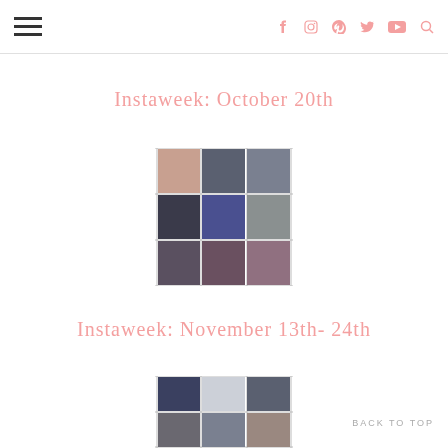≡  [social icons: facebook, instagram, pinterest, twitter, youtube, search]
Instaweek: October 20th
[Figure (photo): 3x3 grid of Instagram photos from the week of October 20th]
Instaweek: November 13th- 24th
[Figure (photo): Partial 3-column grid of Instagram photos from November 13th-24th]
BACK TO TOP